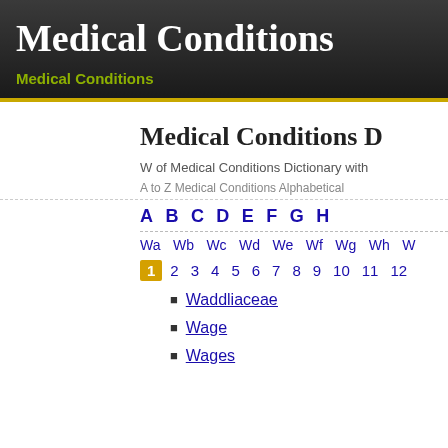Medical Conditions
Medical Conditions
Medical Conditions D
W of Medical Conditions Dictionary with
A to Z Medical Conditions Alphabetical
A B C D E F G H
Wa Wb Wc Wd We Wf Wg Wh W
1 2 3 4 5 6 7 8 9 10 11 12
Waddliaceae
Wage
Wages